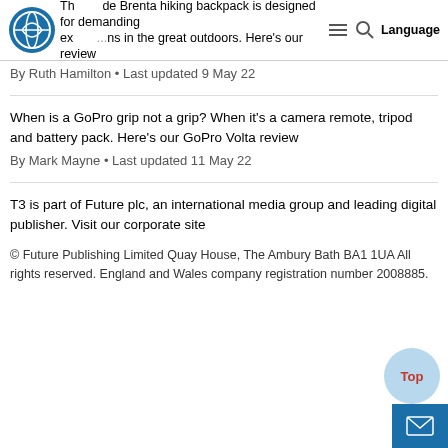The de Brenta hiking backpack is designed for demanding excursions in the great outdoors. Here's our review
By Ruth Hamilton • Last updated 9 May 22
When is a GoPro grip not a grip? When it's a camera remote, tripod and battery pack. Here's our GoPro Volta review
By Mark Mayne • Last updated 11 May 22
T3 is part of Future plc, an international media group and leading digital publisher. Visit our corporate site
© Future Publishing Limited Quay House, The Ambury Bath BA1 1UA All rights reserved. England and Wales company registration number 2008885.